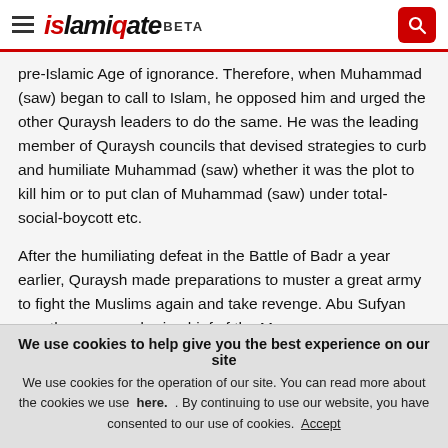islamiqate BETA
pre-Islamic Age of ignorance. Therefore, when Muhammad (saw) began to call to Islam, he opposed him and urged the other Quraysh leaders to do the same. He was the leading member of Quraysh councils that devised strategies to curb and humiliate Muhammad (saw) whether it was the plot to kill him or to put clan of Muhammad (saw) under total-social-boycott etc.
After the humiliating defeat in the Battle of Badr a year earlier, Quraysh made preparations to muster a great army to fight the Muslims again and take revenge. Abu Sufyan was the commander-in-chief of the Meccan army.
“Abu Sufyan ascended a high place and said, ‘Is Muhammad
We use cookies to help give you the best experience on our site We use cookies for the operation of our site. You can read more about the cookies we use here. . By continuing to use our website, you have consented to our use of cookies. Accept